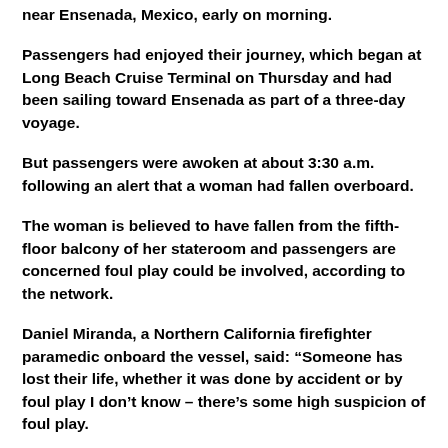near Ensenada, Mexico, early on morning.
Passengers had enjoyed their journey, which began at Long Beach Cruise Terminal on Thursday and had been sailing toward Ensenada as part of a three-day voyage.
But passengers were awoken at about 3:30 a.m. following an alert that a woman had fallen overboard.
The woman is believed to have fallen from the fifth-floor balcony of her stateroom and passengers are concerned foul play could be involved, according to the network.
Daniel Miranda, a Northern California firefighter paramedic onboard the vessel, said: “Someone has lost their life, whether it was done by accident or by foul play I don’t know – there’s some high suspicion of foul play.